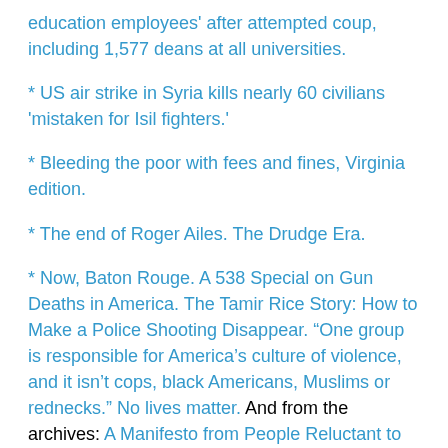education employees' after attempted coup, including 1,577 deans at all universities.
* US air strike in Syria kills nearly 60 civilians 'mistaken for Isil fighters.'
* Bleeding the poor with fees and fines, Virginia edition.
* The end of Roger Ailes. The Drudge Era.
* Now, Baton Rouge. A 538 Special on Gun Deaths in America. The Tamir Rice Story: How to Make a Police Shooting Disappear. "One group is responsible for America's culture of violence, and it isn't cops, black Americans, Muslims or rednecks." No lives matter. And from the archives: A Manifesto from People Reluctant to Kill for an Abstraction.